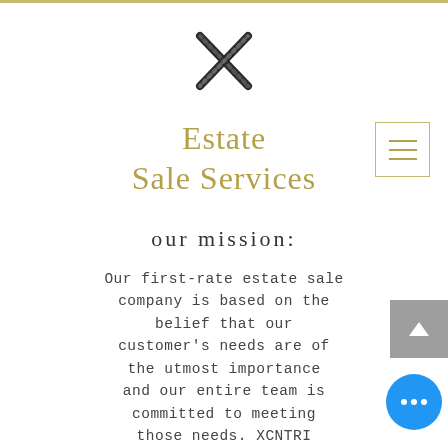[Figure (logo): Stylized X logo mark in dark crosshatch/serif style]
Estate Sale Services
our mission:
Our first-rate estate sale company is based on the belief that our customer's needs are of the utmost importance and our entire team is committed to meeting those needs. XCNTRI Estate Sales first and foremost goal is providing residential and